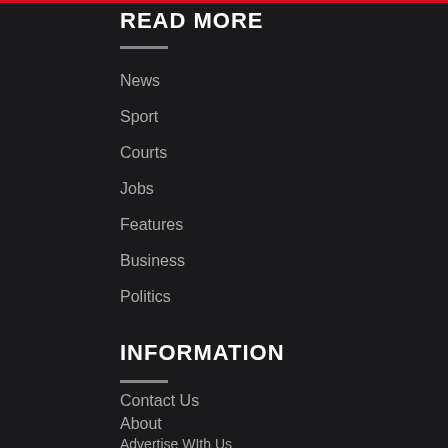READ MORE
News
Sport
Courts
Jobs
Features
Business
Politics
INFORMATION
Contact Us
About
Advertise WIth Us